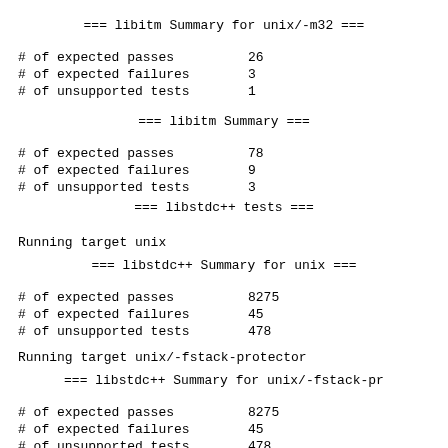=== libitm Summary for unix/-m32 ===
| metric | value |
| --- | --- |
| # of expected passes | 26 |
| # of expected failures | 3 |
| # of unsupported tests | 1 |
=== libitm Summary ===
| metric | value |
| --- | --- |
| # of expected passes | 78 |
| # of expected failures | 9 |
| # of unsupported tests | 3 |
=== libstdc++ tests ===
Running target unix
=== libstdc++ Summary for unix ===
| metric | value |
| --- | --- |
| # of expected passes | 8275 |
| # of expected failures | 45 |
| # of unsupported tests | 478 |
Running target unix/-fstack-protector
=== libstdc++ Summary for unix/-fstack-pr
| metric | value |
| --- | --- |
| # of expected passes | 8275 |
| # of expected failures | 45 |
| # of unsupported tests | 478 |